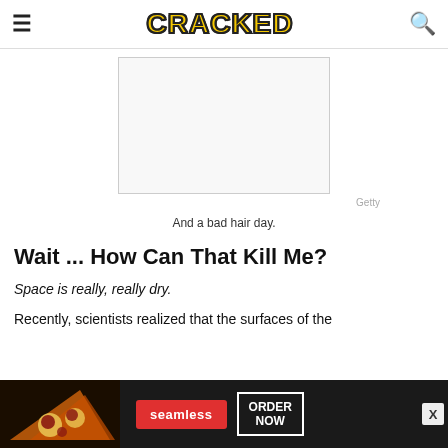CRACKED
[Figure (photo): A blank/white image placeholder with a thin border, representing an image in the article]
Getty
And a bad hair day.
Wait ... How Can That Kill Me?
Space is really, really dry.
Recently, scientists realized that the surfaces of the
[Figure (photo): Bottom advertisement banner for Seamless food delivery service, with pizza image, Seamless red button, and ORDER NOW button]